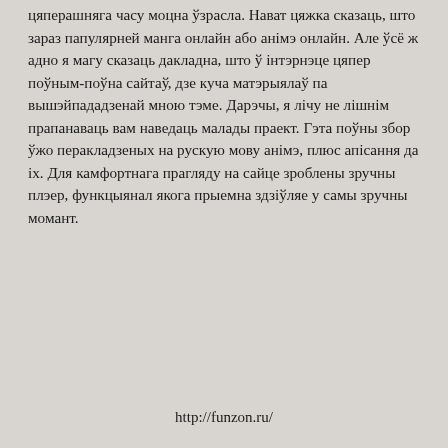цяперашняга часу моцна ўзрасла. Нават цяжка сказаць, што зараз папулярней манга онлайн або анімэ онлайн. Але ўсё ж адно я магу сказаць дакладна, што ў інтэрнэце цяпер поўным-поўна сайтаў, дзе куча матэрыялаў па вышэйпададзенай мною тэме. Дарэчы, я лічу не лішнім прапанаваць вам наведаць малады праект. Гэта поўны збор ўжо перакладзеных на рускую мову анімэ, плюс апісання да іх. Для камфортнага прагляду на сайце зроблены зручны плэер, функцыянал якога прыемна здзіўляе у самы зручны момант.
http://funzon.ru/